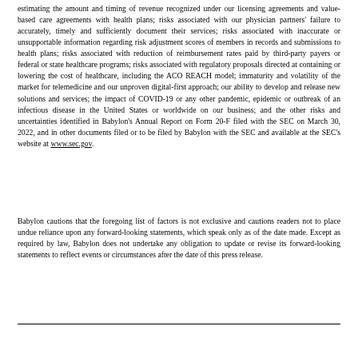estimating the amount and timing of revenue recognized under our licensing agreements and value-based care agreements with health plans; risks associated with our physician partners' failure to accurately, timely and sufficiently document their services; risks associated with inaccurate or unsupportable information regarding risk adjustment scores of members in records and submissions to health plans; risks associated with reduction of reimbursement rates paid by third-party payers or federal or state healthcare programs; risks associated with regulatory proposals directed at containing or lowering the cost of healthcare, including the ACO REACH model; immaturity and volatility of the market for telemedicine and our unproven digital-first approach; our ability to develop and release new solutions and services; the impact of COVID-19 or any other pandemic, epidemic or outbreak of an infectious disease in the United States or worldwide on our business; and the other risks and uncertainties identified in Babylon's Annual Report on Form 20-F filed with the SEC on March 30, 2022, and in other documents filed or to be filed by Babylon with the SEC and available at the SEC's website at www.sec.gov.
Babylon cautions that the foregoing list of factors is not exclusive and cautions readers not to place undue reliance upon any forward-looking statements, which speak only as of the date made. Except as required by law, Babylon does not undertake any obligation to update or revise its forward-looking statements to reflect events or circumstances after the date of this press release.